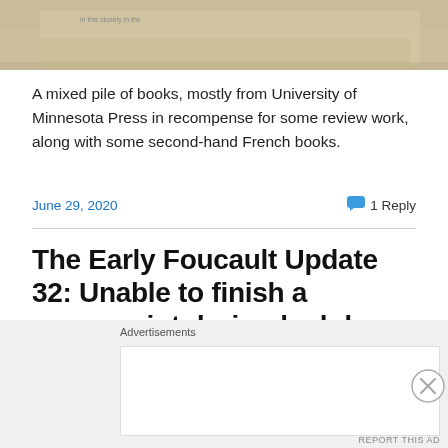[Figure (photo): Top portion of a photo showing a pile of books on a light background, partially cropped]
A mixed pile of books, mostly from University of Minnesota Press in recompense for some review work, along with some second-hand French books.
June 29, 2020    1 Reply
The Early Foucault Update 32: Unable to finish a manuscript during lockdown
Advertisements